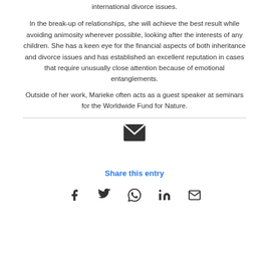international divorce issues.
In the break-up of relationships, she will achieve the best result while avoiding animosity wherever possible, looking after the interests of any children. She has a keen eye for the financial aspects of both inheritance and divorce issues and has established an excellent reputation in cases that require unusually close attention because of emotional entanglements.
Outside of her work, Marieke often acts as a guest speaker at seminars for the Worldwide Fund for Nature.
[Figure (infographic): Email envelope icon]
Share this entry
[Figure (infographic): Social share icons: Facebook, Twitter, WhatsApp, LinkedIn, Email]